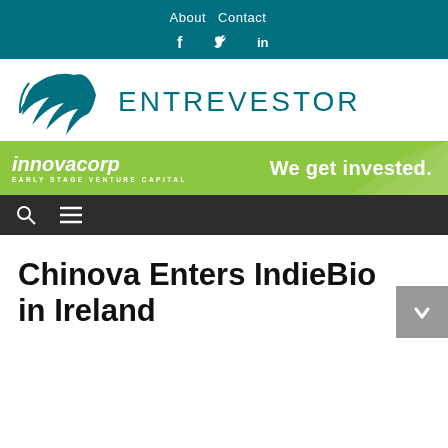About   Contact
[Figure (logo): Entrevestor logo with teal wing/feather graphic and ENTREVESTOR text]
[Figure (infographic): Innovacorp Early Stage Venture Capital banner - green background with text 'innovacorp EARLY STAGE VENTURE CAPITAL' and 'We get invested.']
Chinova Enters IndieBio in Ireland